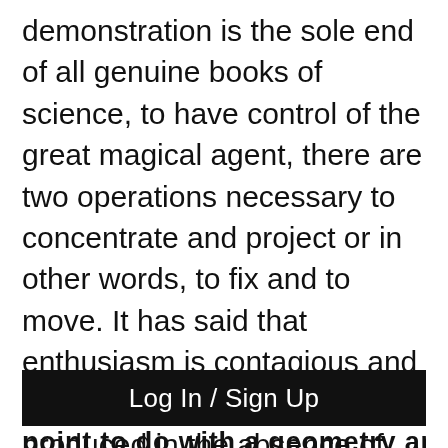demonstration is the sole end of all genuine books of science, to have control of the great magical agent, there are two operations necessary to concentrate and project or in other words, to fix and to move. It has said that enthusiasm is contagious and why because it cannot be produced in the absence of rooted faith, faith produce faith, to believe is to have a reason for willing to will with reason as to will with power, I do not say with an infinite, but with an indefinite power, what operates in the intellectual and moral world obtain still more in the physical and when Archimedes was in want of a lever to move the
Log In / Sign Up
point to do with a geometry and he said Gi...